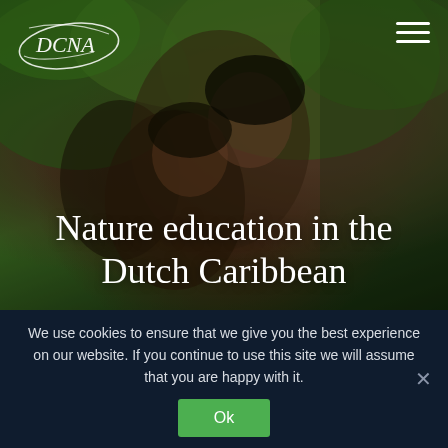[Figure (photo): Two young Black girls hugging and smiling outdoors among green trees and foliage, serving as a hero background image for a nature education website.]
Nature education in the Dutch Caribbean
We use cookies to ensure that we give you the best experience on our website. If you continue to use this site we will assume that you are happy with it.